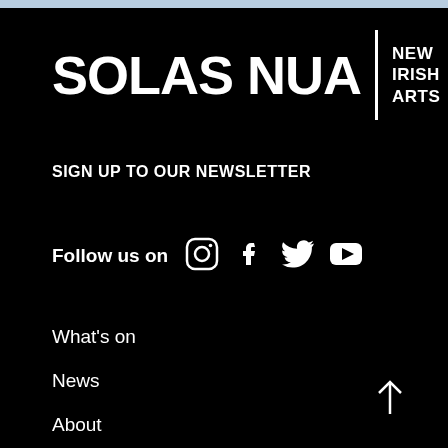SOLAS NUA NEW IRISH ARTS
SIGN UP TO OUR NEWSLETTER
Follow us on
What's on
News
About
Contact